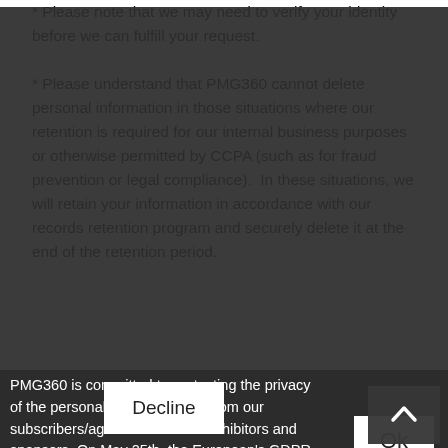* Please note that we may need to verify your identity before we can fulfill your request.
* Please understand that PMG360 cannot delete personal information in those situations where our retention is required for our internal business purposes or otherwise permitted by CCPA (such as for fraud prevention or legal compliance).  In these situations, we will retain your information in accordance with our records retention program and securely delete it at the end of the retention period.
LINKS TO OTHER WEBSITES
... privacy policies of ... applies solely to information collected by PMG360. You should consult the respective privacy policies of any applicable third parties to learn more about their privacy practices.
[Figure (screenshot): GDPR/cookie consent overlay popup on dark background. Contains: 'PMG360 is committed to protecting the privacy of the personal data we collect from our subscribers/agents/customers/exhibitors and sponsors. On May 25th, the European\'s GDPR policy will be enforced. Nothing is changing about your current settings or how your information is processed, however, we have made a few changes. We have updated our Privacy Policy and Cookie Policy to make it easier for you to understand what information we collect, how and why we collect it.' With 'Ok' and 'Decline' buttons.]
HOW WE KEEP YOUR INFORMATION SECURE
To help prevent unauthorized access, maintain data accuracy, and